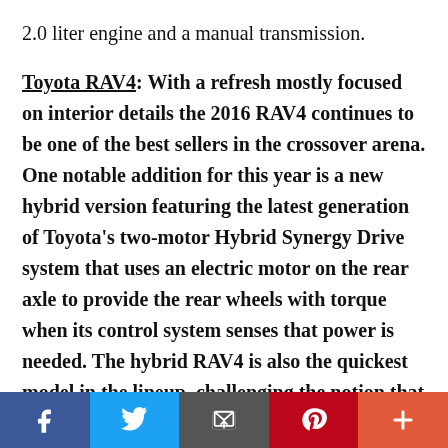2.0 liter engine and a manual transmission.
**Toyota RAV4: **With a refresh mostly focused on interior details the 2016 RAV4 continues to be one of the best sellers in the crossover arena. One notable addition for this year is a new hybrid version featuring the latest generation of Toyota's two-motor Hybrid Synergy Drive system that uses an electric motor on the rear axle to provide the rear wheels with torque when its control system senses that power is needed. The hybrid RAV4 is also the quickest model in the lineup, challenging the notion that hybrid technology and
[Figure (infographic): Social sharing bar with Facebook, Twitter, Email, Pinterest, and More (+) buttons]